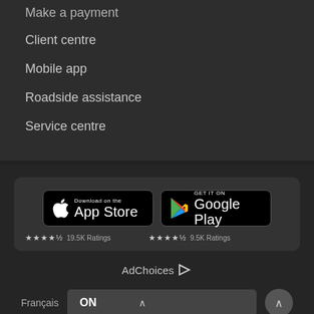Make a payment
Client centre
Mobile app
Roadside assistance
Service centre
[Figure (screenshot): App Store and Google Play download badges with star ratings: App Store 19.5K Ratings, Google Play 9.5K Ratings]
AdChoices
Français  ON  ^